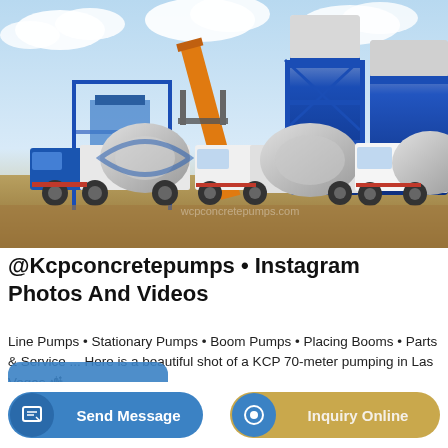[Figure (photo): Outdoor photo of concrete mixer trucks parked in front of a large industrial concrete batching plant with blue silos and orange conveyor structures. Clear sky background.]
@Kcpconcretepumps • Instagram Photos And Videos
Line Pumps • Stationary Pumps • Boom Pumps • Placing Booms • Parts & Service ... Here is a beautiful shot of a KCP 70-meter pumping in Las Vegas 🏙.